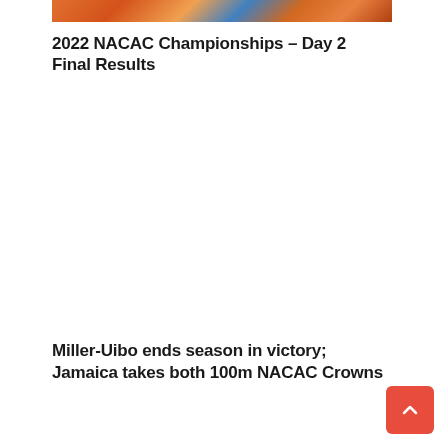[Figure (photo): Cropped top portion of a sports/athletics photo showing athletes competing, with colorful background and text/signage visible]
2022 NACAC Championships – Day 2 Final Results
Miller-Uibo ends season in victory; Jamaica takes both 100m NACAC Crowns